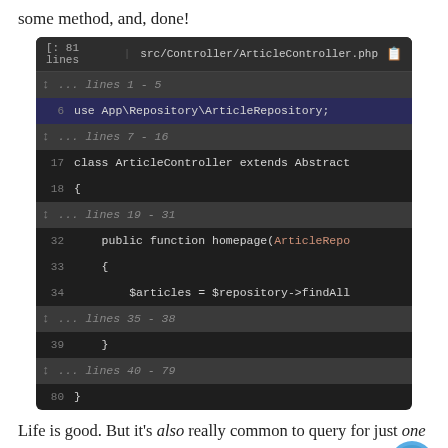some method, and, done!
[Figure (screenshot): Code editor snippet showing ArticleController.php with 81 lines. Visible lines include: line 6 'use App\Repository\ArticleRepository;', line 17 'class ArticleController extends Abstract', line 18 '{', line 32 'public function homepage(ArticleRepo', line 33 '{', line 34 '$articles = $repository->findAll', line 39 '}', line 80 '}'. Collapsed line ranges shown: lines 1-5, 7-16, 19-31, 35-38, 40-79.]
Life is good. But it's also really common to query for just one object. And in these situations, if the query you need is simple... you can make Symfony do all of the work: